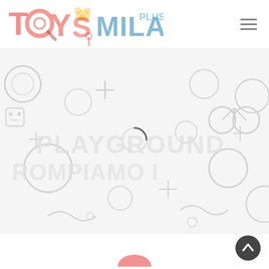[Figure (logo): Toys Milano Plus logo — colorful toy-themed logo with bear, magnifying glass, and text 'TOYS MILANO PLUS' in red/orange/blue, faded/watermark style]
[Figure (illustration): White/light gray banner background with faint toy-themed doodle pattern (circles, crosses, bicycle, robot, stars, plus signs) and a loading spinner circle in the center]
[Figure (illustration): Scroll-to-top circular button with upward chevron arrow, dark gray, bottom-right corner]
[Figure (illustration): Partial pink/coral circular element visible at the very bottom center of the page]